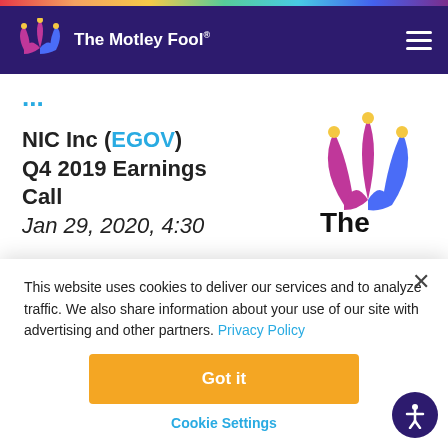The Motley Fool
NIC Inc (EGOV) Q4 2019 Earnings Call Jan 29, 2020, 4:30
[Figure (logo): The Motley Fool jester hat logo (large, in content area)]
This website uses cookies to deliver our services and to analyze traffic. We also share information about your use of our site with advertising and other partners. Privacy Policy
Got it
Cookie Settings